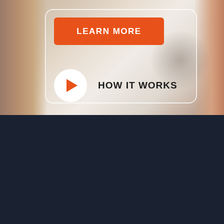[Figure (illustration): Top section showing a person in white shirt (blurred background), with a rounded card overlay containing an orange LEARN MORE button and a white play button circle with HOW IT WORKS text]
LEARN MORE
HOW IT WORKS
[Figure (illustration): Orange lightbulb icon with dollar sign and rays, representing consultation services]
Get Consultation
You can get a free consultation.
[Figure (illustration): Orange bar chart with upward arrow icon representing fast quality results]
Fast & Quality Results
Please see our contact details below.